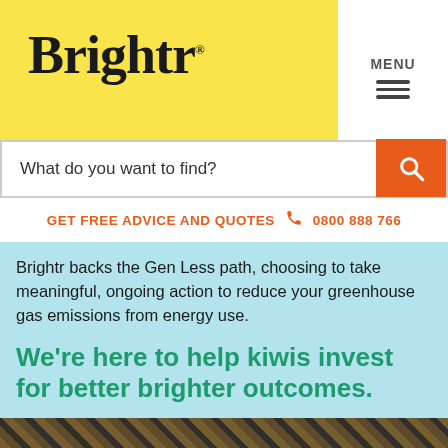Brightr.
[Figure (screenshot): Navigation menu button with MENU text and hamburger icon lines]
[Figure (screenshot): Search bar with placeholder text 'What do you want to find?' and orange search button]
GET FREE ADVICE AND QUOTES  0800 888 766
Brightr backs the Gen Less path, choosing to take meaningful, ongoing action to reduce your greenhouse gas emissions from energy use.
We're here to help kiwis invest for better brighter outcomes.
[Figure (photo): Wooden roof structure / timber framing photo at bottom of page]